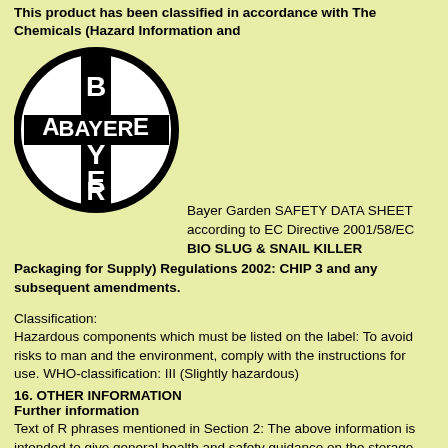This product has been classified in accordance with The Chemicals (Hazard Information and
[Figure (logo): Bayer logo: circular black and white logo with BAYER text arranged in a cross pattern with BAYER written horizontally]
Bayer Garden SAFETY DATA SHEET according to EC Directive 2001/58/EC BIO SLUG & SNAIL KILLER
Packaging for Supply) Regulations 2002: CHIP 3 and any subsequent amendments.
Classification:
Hazardous components which must be listed on the label: To avoid risks to man and the environment, comply with the instructions for use. WHO-classification: III (Slightly hazardous)
16. OTHER INFORMATION
Further information
Text of R phrases mentioned in Section 2: The above information is intended to give general health and safety guidance on the storage and transport of the product. It is not intended to apply to the use of the product for which purposes the product label and any appropriate technical usage literature available should be consulted and any relevant licenses, consents or approvals complied with. The requirements or recommendations of any relevant site or working procedure, system or policy in force or arising from any risk assessment involving the substance or